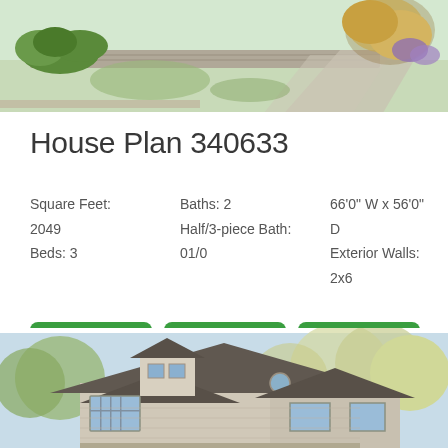[Figure (illustration): Top portion of a house exterior illustration with landscaping, driveway, trees and shrubs visible from an elevated angle]
House Plan 340633
Square Feet:
2049
Beds: 3
Baths: 2
Half/3-piece Bath:
01/0
66'0" W x 56'0"
D
Exterior Walls:
2x6
Floor Plan
Details
Pricing
[Figure (illustration): Bottom portion of a house exterior illustration showing a craftsman-style home with dark roof shingles, dormers, and surrounding trees and landscaping]